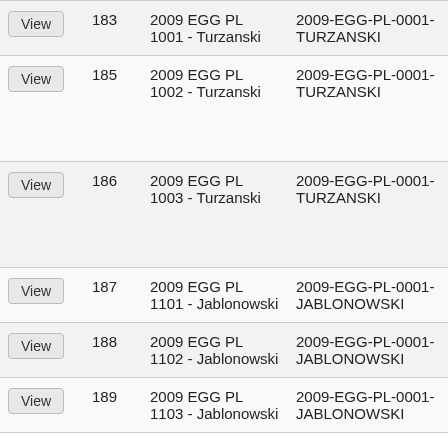|  | ID | Name | Code | Location |
| --- | --- | --- | --- | --- |
| View | 183 | 2009 EGG PL 1001 - Turzanski | 2009-EGG-PL-0001-TURZANSKI |  |
| View | 185 | 2009 EGG PL 1002 - Turzanski | 2009-EGG-PL-0001-TURZANSKI | 1й кварта. приозерны район |
| View | 186 | 2009 EGG PL 1003 - Turzanski | 2009-EGG-PL-0001-TURZANSKI | 1й кварта. приозерны район |
| View | 187 | 2009 EGG PL 1101 - Jablonowski | 2009-EGG-PL-0001-JABLONOWSKI | Białystok |
| View | 188 | 2009 EGG PL 1102 - Jablonowski | 2009-EGG-PL-0001-JABLONOWSKI | Białystok |
| View | 189 | 2009 EGG PL 1103 - Jablonowski | 2009-EGG-PL-0001-JABLONOWSKI | Białystok |